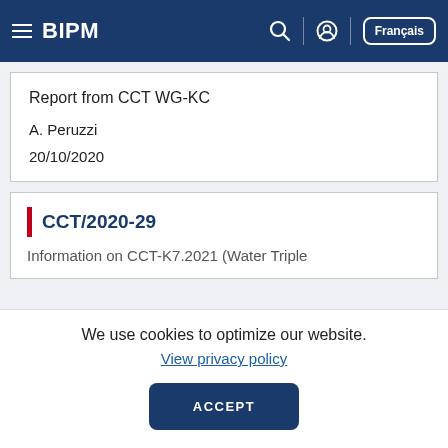BIPM | Français
Report from CCT WG-KC
A. Peruzzi
20/10/2020
CCT/2020-29
Information on CCT-K7.2021 (Water Triple
We use cookies to optimize our website.
View privacy policy
ACCEPT